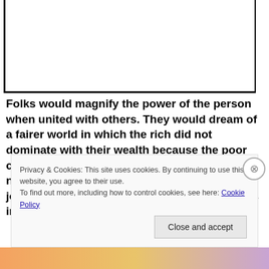[Figure (other): Empty bordered box representing a decorative frame or image placeholder at top of page]
Folks would magnify the power of the person when united with others. They would dream of a fairer world in which the rich did not dominate with their wealth because the poor could balance the scales with their strength in numbers, adding to their individual power by joining in unions and by combining their votes in
Privacy & Cookies: This site uses cookies. By continuing to use this website, you agree to their use.
To find out more, including how to control cookies, see here: Cookie Policy